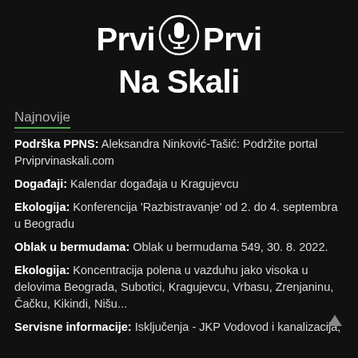Prvi Prvi Na Skali
Najnovije
Podrška PPNS: Aleksandra Ninković-Tašić: Podržite portal Prviprvinaskali.com
Događaji: Kalendar događaja u Kragujevcu
Ekologija: Konferencija 'Razbistravanje' od 2. do 4. septembra u Beogradu
Oblak u bermudama: Oblak u bermudama 549, 30. 8. 2022.
Ekologija: Koncentracija polena u vazduhu jako visoka u delovima Beograda, Subotici, Kragujevcu, Vrbasu, Zrenjaninu, Čačku, Kikindi, Nišu...
Servisne informacije: Isključenja - JKP Vodovod i kanalizacija,